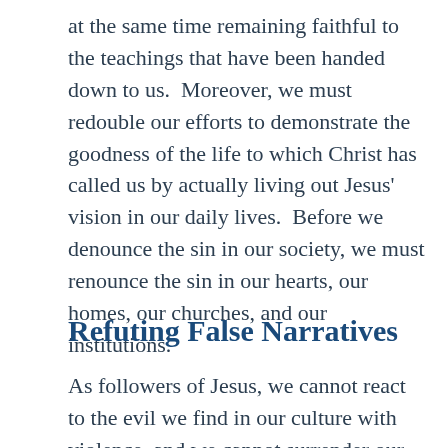at the same time remaining faithful to the teachings that have been handed down to us.  Moreover, we must redouble our efforts to demonstrate the goodness of the life to which Christ has called us by actually living out Jesus' vision in our daily lives.  Before we denounce the sin in our society, we must renounce the sin in our hearts, our homes, our churches, and our institutions.
Refuting False Narratives
As followers of Jesus, we cannot react to the evil we find in our culture with violence, and we cannot surrender our